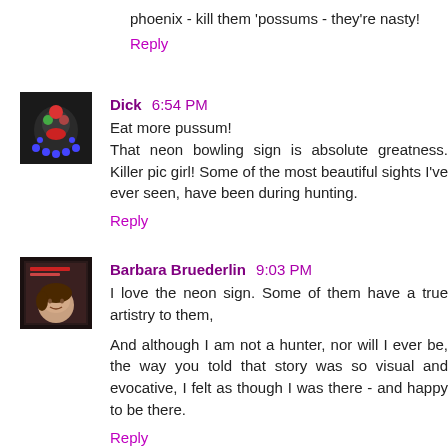phoenix - kill them 'possums - they're nasty!
Reply
Dick 6:54 PM
Eat more pussum!
That neon bowling sign is absolute greatness. Killer pic girl! Some of the most beautiful sights I've ever seen, have been during hunting.
Reply
Barbara Bruederlin 9:03 PM
I love the neon sign. Some of them have a true artistry to them,

And although I am not a hunter, nor will I ever be, the way you told that story was so visual and evocative, I felt as though I was there - and happy to be there.
Reply